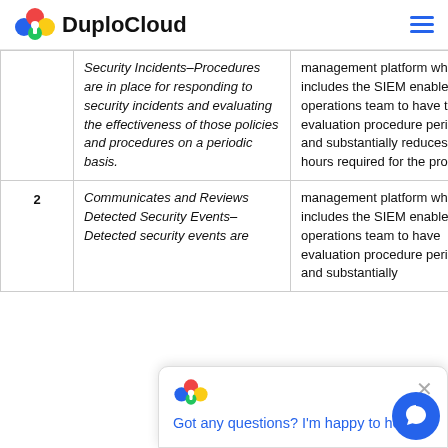DuploCloud
| # | Policy | Description |
| --- | --- | --- |
|  | Security Incidents–Procedures are in place for responding to security incidents and evaluating the effectiveness of those policies and procedures on a periodic basis. | management platform which includes the SIEM enables operations team to have this evaluation procedure periodically and substantially reduces the man hours required for the process. |
| 2 | Communicates and Reviews Detected Security Events–Detected security events are | management platform which includes the SIEM enables operations team to have evaluation procedure periodically and substantially |